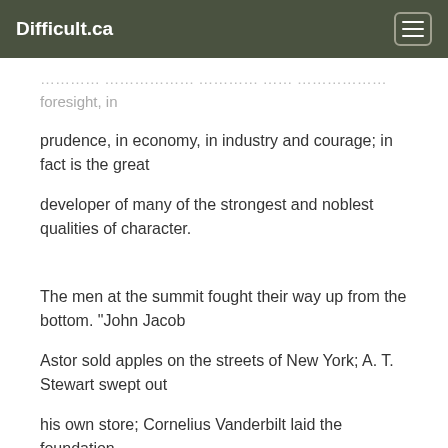Difficult.ca
…foresight, in
prudence, in economy, in industry and courage; in fact is the great
developer of many of the strongest and noblest qualities of character.
The men at the summit fought their way up from the bottom. "John Jacob
Astor sold apples on the streets of New York; A. T. Stewart swept out
his own store; Cornelius Vanderbilt laid the foundation